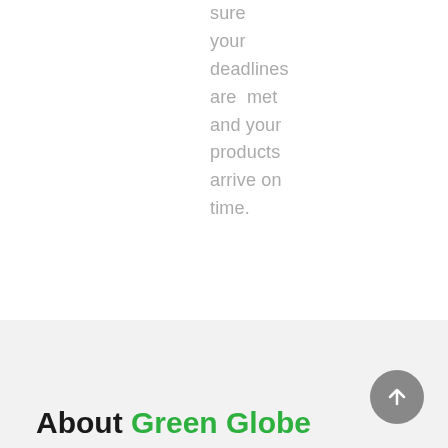sure your deadlines are met and your products arrive on time.
About Green Globe